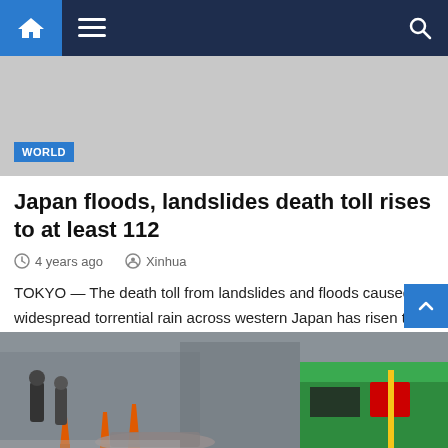Navigation bar with home, menu, and search icons
[Figure (photo): Gray hero image placeholder with WORLD category badge in blue]
Japan floods, landslides death toll rises to at least 112
4 years ago   Xinhua
TOKYO — The death toll from landslides and floods caused by widespread torrential rain across western Japan has risen to 112, with at least three others in a critical condition, public…
[Figure (photo): Street scene photo showing people walking near orange traffic cones and debris on a sidewalk, with a green convenience store in the background]